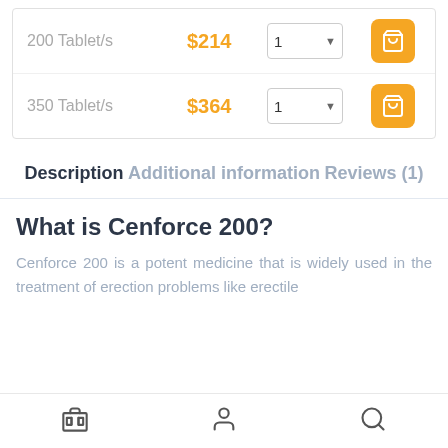| Quantity | Price | Qty | Action |
| --- | --- | --- | --- |
| 200 Tablet/s | $214 | 1 | Add to cart |
| 350 Tablet/s | $364 | 1 | Add to cart |
Description
Additional information
Reviews (1)
What is Cenforce 200?
Cenforce 200 is a potent medicine that is widely used in the treatment of erection problems like erectile